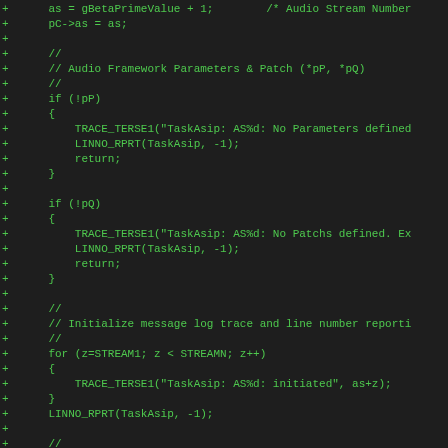[Figure (screenshot): Source code diff showing C/C++ code additions (green + lines) with audio framework initialization logic including parameter checks, stream initialization loop, and decoder/stream index determination.]